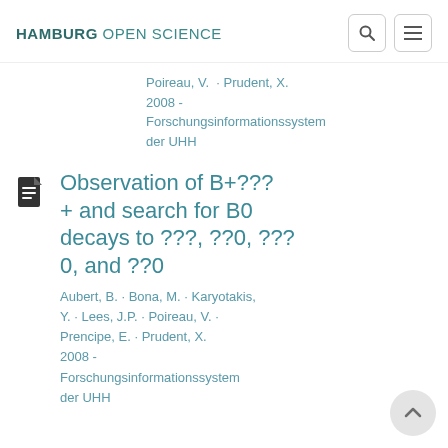HAMBURG OPEN SCIENCE
Poireau, V. · Prudent, X.
2008 -
Forschungsinformationssystem der UHH
Observation of B+???+ and search for B0 decays to ???, ??0, ???0, and ??0
Aubert, B. · Bona, M. · Karyotakis, Y. · Lees, J.P. · Poireau, V. · Prencipe, E. · Prudent, X.
2008 -
Forschungsinformationssystem der UHH